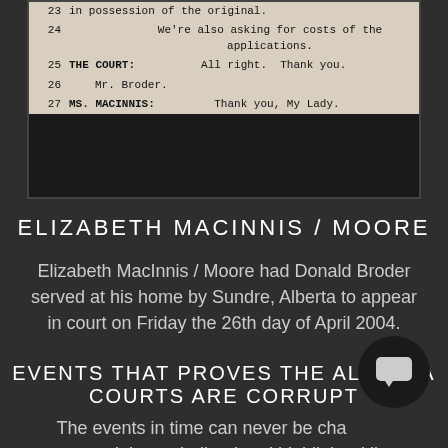[Figure (screenshot): Scanned court transcript excerpt showing lines 23-27 with speakers THE COURT and MS. MACINNIS]
ELIZABETH MACINNIS / MOORE
Elizabeth MacInnis / Moore had Donald Broder served at his home by Sundre, Alberta to appear in court on Friday the 26th day of April 2004.
EVENTS THAT PROVES THE ALBERTA COURTS ARE CORRUPT
The events in time can never be changed, now, read the underlined and highlighted lines